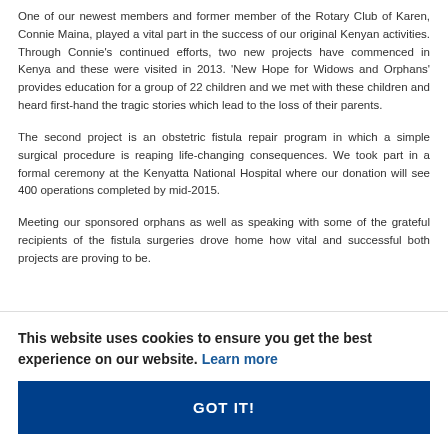One of our newest members and former member of the Rotary Club of Karen, Connie Maina, played a vital part in the success of our original Kenyan activities. Through Connie's continued efforts, two new projects have commenced in Kenya and these were visited in 2013. 'New Hope for Widows and Orphans' provides education for a group of 22 children and we met with these children and heard first-hand the tragic stories which lead to the loss of their parents.
The second project is an obstetric fistula repair program in which a simple surgical procedure is reaping life-changing consequences. We took part in a formal ceremony at the Kenyatta National Hospital where our donation will see 400 operations completed by mid-2015.
Meeting our sponsored orphans as well as speaking with some of the grateful recipients of the fistula surgeries drove home how vital and successful both projects are proving to be.
This website uses cookies to ensure you get the best experience on our website. Learn more
GOT IT!